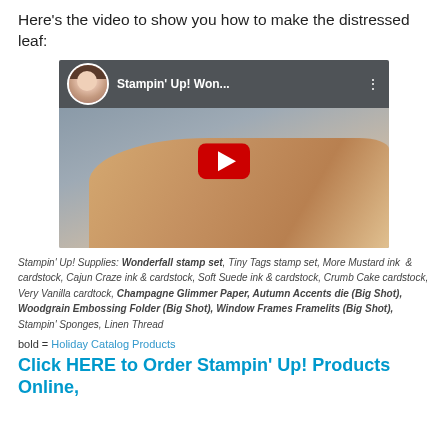Here's the video to show you how to make the distressed leaf:
[Figure (screenshot): YouTube video thumbnail showing 'Stampin' Up! Won...' with a woman's avatar, YouTube play button, and a hand pressing on paper]
Stampin' Up! Supplies: Wonderfall stamp set, Tiny Tags stamp set, More Mustard ink & cardstock, Cajun Craze ink & cardstock, Soft Suede ink & cardstock, Crumb Cake cardstock, Very Vanilla cardtock, Champagne Glimmer Paper, Autumn Accents die (Big Shot), Woodgrain Embossing Folder (Big Shot), Window Frames Framelits (Big Shot), Stampin' Sponges, Linen Thread
bold = Holiday Catalog Products
Click HERE to Order Stampin' Up! Products Online,